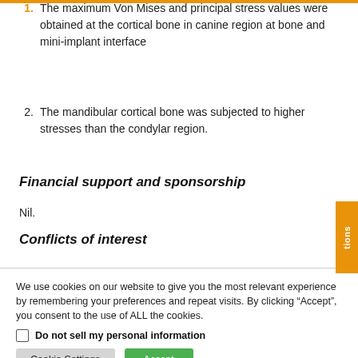1. The maximum Von Mises and principal stress values were obtained at the cortical bone in canine region at bone and mini-implant interface
2. The mandibular cortical bone was subjected to higher stresses than the condylar region.
Financial support and sponsorship
Nil.
Conflicts of interest
We use cookies on our website to give you the most relevant experience by remembering your preferences and repeat visits. By clicking “Accept”, you consent to the use of ALL the cookies.
Do not sell my personal information